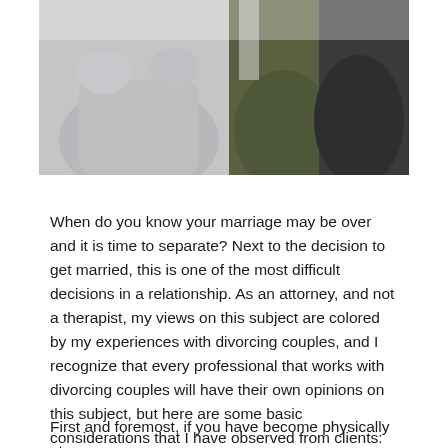[Figure (photo): A photo showing people in confrontational or distressed posture — a person in a grey hoodie with hands raised near face, and others in dark clothing in the background, suggesting conflict or distress.]
When do you know your marriage may be over and it is time to separate? Next to the decision to get married, this is one of the most difficult decisions in a relationship. As an attorney, and not a therapist, my views on this subject are colored by my experiences with divorcing couples, and I recognize that every professional that works with divorcing couples will have their own opinions on this subject, but here are some basic considerations that I have observed from clients:
First and foremost, if you have become physically at